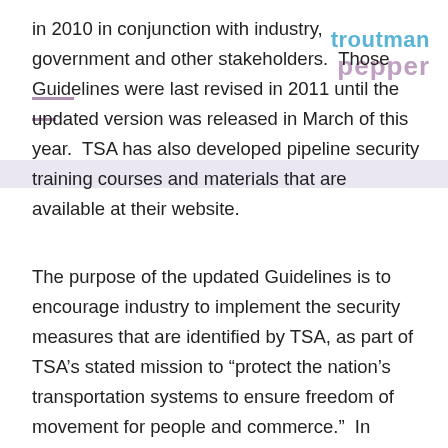[Figure (logo): Troutman Pepper law firm logo in teal and mauve colors]
in 2010 in conjunction with industry, government and other stakeholders.  Those Guidelines were last revised in 2011 until the updated version was released in March of this year.  TSA has also developed pipeline security training courses and materials that are available at their website.
The purpose of the updated Guidelines is to encourage industry to implement the security measures that are identified by TSA, as part of TSA’s stated mission to “protect the nation’s transportation systems to ensure freedom of movement for people and commerce.”  In addition, as with the 2011 Guidelines, TSA will rely on them in conducting voluntary Pipeline Security Program Corporate Security Reviews as well as Critical Facility Security